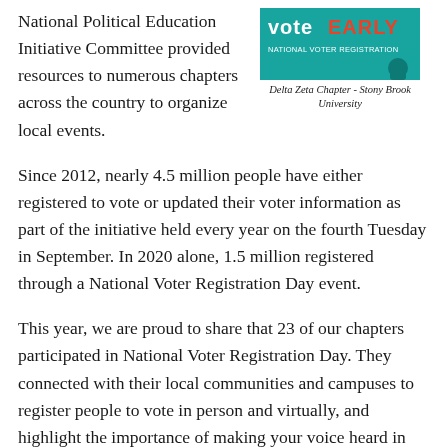National Political Education Initiative Committee provided resources to numerous chapters across the country to organize local events.
[Figure (photo): Photo of a Vote Early event sign with teal background, associated with Delta Zeta Chapter at Stony Brook University]
Delta Zeta Chapter - Stony Brook University
Since 2012, nearly 4.5 million people have either registered to vote or updated their voter information as part of the initiative held every year on the fourth Tuesday in September. In 2020 alone, 1.5 million registered through a National Voter Registration Day event.
This year, we are proud to share that 23 of our chapters participated in National Voter Registration Day. They connected with their local communities and campuses to register people to vote in person and virtually, and highlight the importance of making your voice heard in our elections